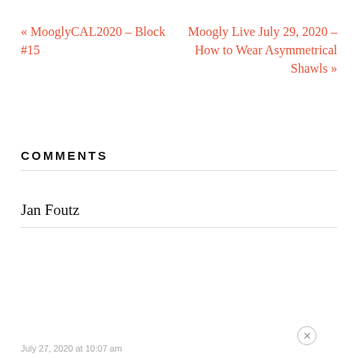« MooglyCAL2020 – Block #15
Moogly Live July 29, 2020 – How to Wear Asymmetrical Shawls »
COMMENTS
Jan Foutz
July 27, 2020 at 10:07 am